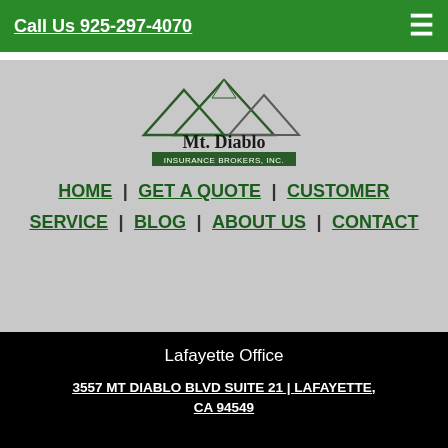Call Us 925-297-4070
[Figure (logo): Mt. Diablo Insurance Brokers, Inc. logo with mountain graphic, dark green and gray colors]
HOME | GET A QUOTE | CUSTOMER SERVICE | BLOG | ABOUT US | CONTACT
Lafayette Office
3557 MT DIABLO BLVD SUITE 21 | LAFAYETTE, CA 94549
[Figure (illustration): Facebook and LinkedIn social media icons - white circles with dark logos]
[Figure (logo): Mt. Diablo Insurance Brokers, Inc. white logo at bottom]
[Figure (illustration): Accessibility icon - blue circle with person symbol]